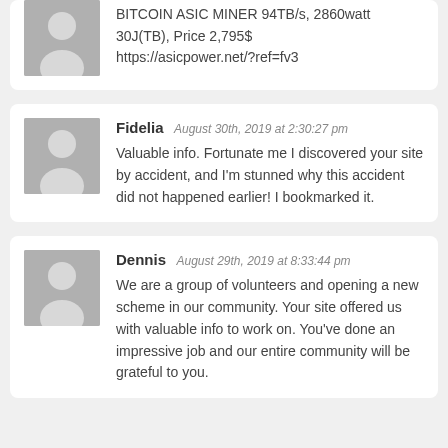BITCOIN ASIC MINER 94TB/s, 2860watt 30J(TB), Price 2,795$ https://asicpower.net/?ref=fv3
Fidelia August 30th, 2019 at 2:30:27 pm
Valuable info. Fortunate me I discovered your site by accident, and I'm stunned why this accident did not happened earlier! I bookmarked it.
Dennis August 29th, 2019 at 8:33:44 pm
We are a group of volunteers and opening a new scheme in our community. Your site offered us with valuable info to work on. You've done an impressive job and our entire community will be grateful to you.